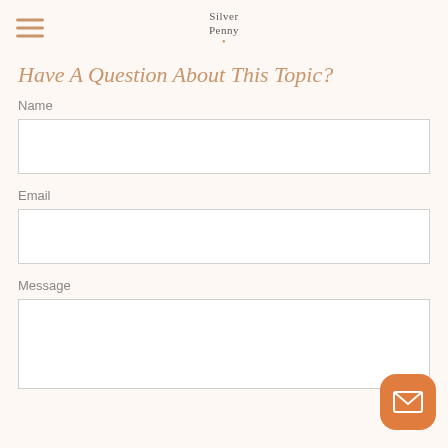Silver Penny
Have A Question About This Topic?
Name
Email
Message
[Figure (illustration): Orange rounded square button with white envelope/mail icon in bottom-right corner]